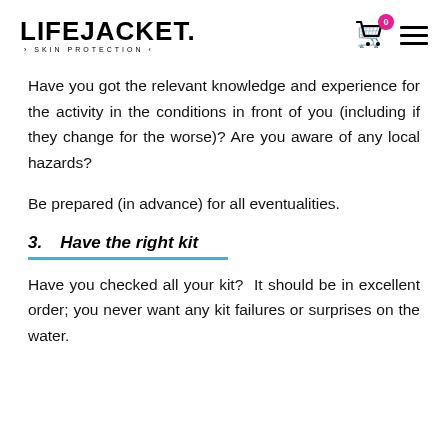LIFEJACKET · SKIN PROTECTION
Have you got the relevant knowledge and experience for the activity in the conditions in front of you (including if they change for the worse)? Are you aware of any local hazards?
Be prepared (in advance) for all eventualities.
3. Have the right kit
Have you checked all your kit? It should be in excellent order; you never want any kit failures or surprises on the water.